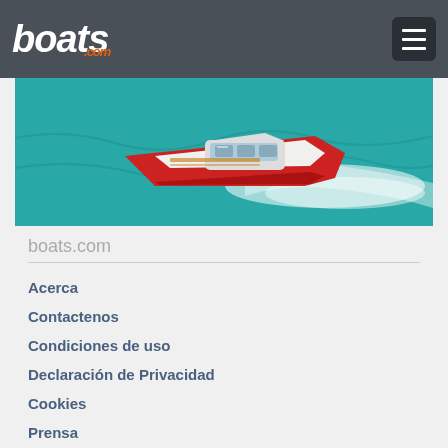boats.com
[Figure (photo): A red and white motorboat speeding across turquoise water, viewed from above at an angle, with white wake trailing behind.]
boats.com
Acerca
Contactenos
Condiciones de uso
Declaración de Privacidad
Cookies
Prensa
Kit de publicidad
No autorizo la venta de mis datos personales
Servicios
Seguro